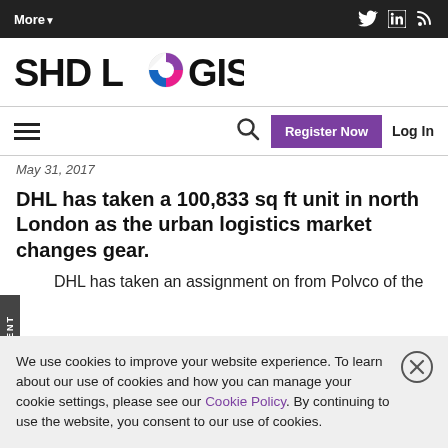More▼
[Figure (logo): SHD Logistics logo with colored circle icon]
Register Now  Log In
May 31, 2017
DHL has taken a 100,833 sq ft unit in north London as the urban logistics market changes gear.
DHL has taken an assignment on from Polvco of the
We use cookies to improve your website experience. To learn about our use of cookies and how you can manage your cookie settings, please see our Cookie Policy. By continuing to use the website, you consent to our use of cookies.